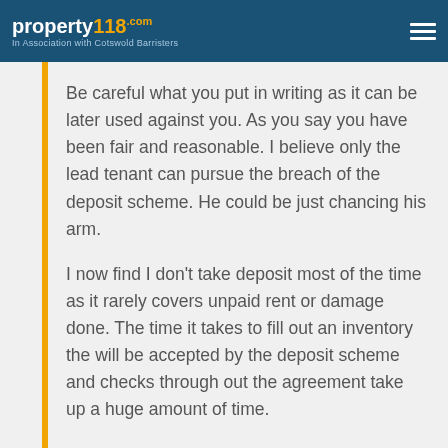property118.com — In Association with Cotswold Barristers
Be careful what you put in writing as it can be later used against you. As you say you have been fair and reasonable. I believe only the lead tenant can pursue the breach of the deposit scheme. He could be just chancing his arm.
I now find I don't take deposit most of the time as it rarely covers unpaid rent or damage done. The time it takes to fill out an inventory the will be accepted by the deposit scheme and checks through out the agreement take up a huge amount of time.